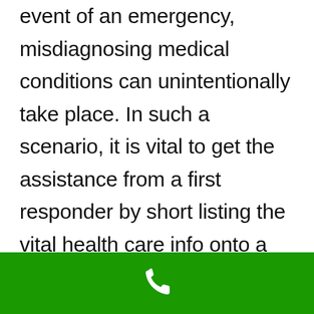event of an emergency, misdiagnosing medical conditions can unintentionally take place. In such a scenario, it is vital to get the assistance from a first responder by short listing the vital health care info onto a medical ID alert system. Based on research, emergency medical responders (EMS), and also clinical workers such as doctors and nurses, will look for your medical alert ID prior to presenting a medical diagnosis. This saves on valuable time and possibilities of being misdiagnosis is minimal. Medical alerts has actually assisted decrease trips to hospitals, remove
[Figure (other): Green bar at the bottom with a white phone/call icon in the center]